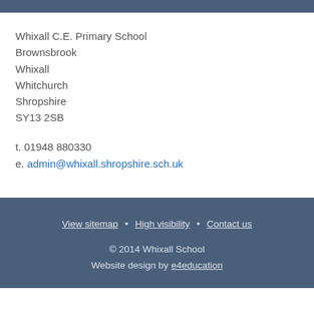Whixall C.E. Primary School
Brownsbrook
Whixall
Whitchurch
Shropshire
SY13 2SB
t. 01948 880330
e. admin@whixall.shropshire.sch.uk
View sitemap · High visibility · Contact us
© 2014 Whixall School
Website design by e4education